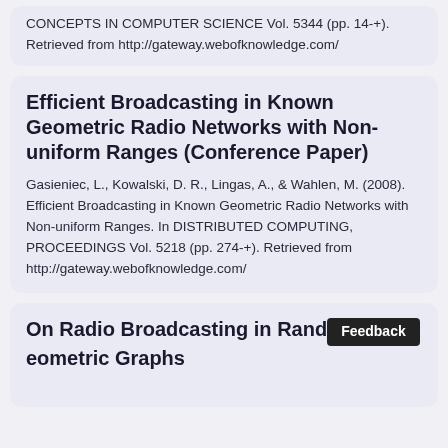CONCEPTS IN COMPUTER SCIENCE Vol. 5344 (pp. 14-+). Retrieved from http://gateway.webofknowledge.com/
Efficient Broadcasting in Known Geometric Radio Networks with Non-uniform Ranges (Conference Paper)
Gasieniec, L., Kowalski, D. R., Lingas, A., & Wahlen, M. (2008). Efficient Broadcasting in Known Geometric Radio Networks with Non-uniform Ranges. In DISTRIBUTED COMPUTING, PROCEEDINGS Vol. 5218 (pp. 274-+). Retrieved from http://gateway.webofknowledge.com/
On Radio Broadcasting in Random Geometric Graphs